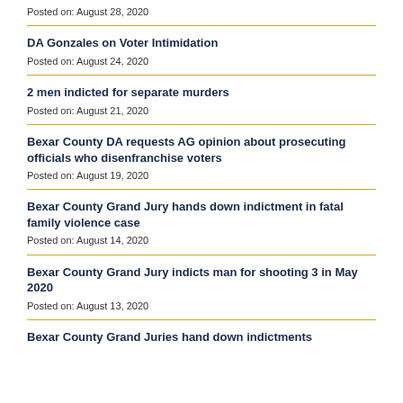Posted on: August 28, 2020
DA Gonzales on Voter Intimidation
Posted on: August 24, 2020
2 men indicted for separate murders
Posted on: August 21, 2020
Bexar County DA requests AG opinion about prosecuting officials who disenfranchise voters
Posted on: August 19, 2020
Bexar County Grand Jury hands down indictment in fatal family violence case
Posted on: August 14, 2020
Bexar County Grand Jury indicts man for shooting 3 in May 2020
Posted on: August 13, 2020
Bexar County Grand Juries hand down indictments